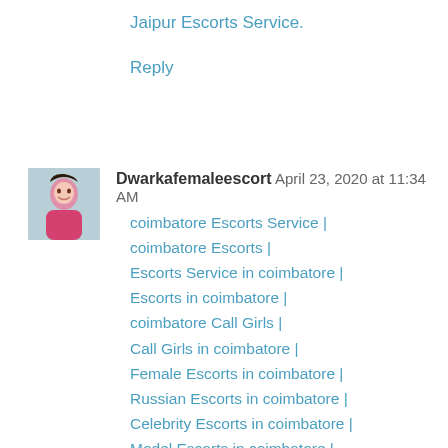Jaipur Escorts Service.
Reply
Dwarkafemaleescort April 23, 2020 at 11:34 AM
coimbatore Escorts Service | coimbatore Escorts | Escorts Service in coimbatore | Escorts in coimbatore | coimbatore Call Girls | Call Girls in coimbatore | Female Escorts in coimbatore | Russian Escorts in coimbatore | Celebrity Escorts in coimbatore | Model Escorts in coimbatore | VIP Escorts in coimbatore | coimbatore Call Girls Service | Independent Escorts in coimbatore | Independent Call Girls in coimbatore | Call Girls Number in coimbatore | coimbatore Call Girls Service Number |